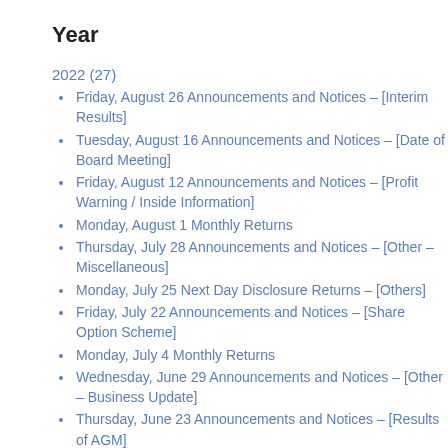Year
2022 (27)
Friday, August 26 Announcements and Notices – [Interim Results]
Tuesday, August 16 Announcements and Notices – [Date of Board Meeting]
Friday, August 12 Announcements and Notices – [Profit Warning / Inside Information]
Monday, August 1 Monthly Returns
Thursday, July 28 Announcements and Notices – [Other – Miscellaneous]
Monday, July 25 Next Day Disclosure Returns – [Others]
Friday, July 22 Announcements and Notices – [Share Option Scheme]
Monday, July 4 Monthly Returns
Wednesday, June 29 Announcements and Notices – [Other – Business Update]
Thursday, June 23 Announcements and Notices – [Results of AGM]